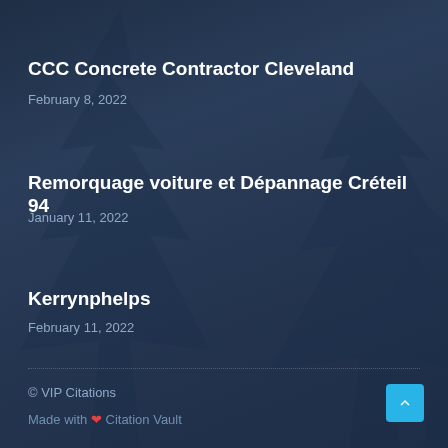CCC Concrete Contractor Cleveland
February 8, 2022
Remorquage voiture et Dépannage Créteil 94
January 11, 2022
Kerrynphelps
February 11, 2022
© VIP Citations
Made with ❤ Citation Vault